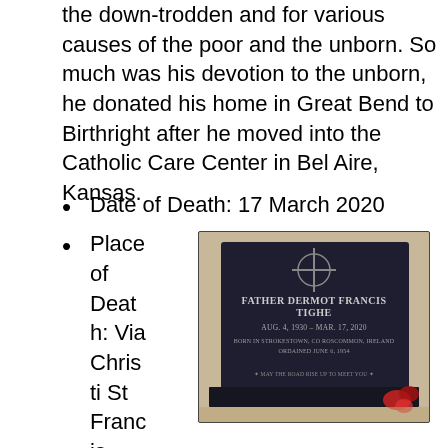the down-trodden and for various causes of the poor and the unborn. So much was his devotion to the unborn, he donated his home in Great Bend to Birthright after he moved into the Catholic Care Center in Bel Aire, Kansas.
Date of Death: 17 March 2020
Place of Death: Via Christi St Francis Hospital, Wichita, KS
[Figure (photo): Gravestone of Father Dermot Francis Tighe, a dark granite headstone reading: FATHER DERMOT FRANCIS TIGHE, AUG. 4, 1930 – MAR. 17, 2020, BORN IN STROKESTOWN, CO ROSCOMMON, IRELAND, ORDAINED JUNE 6, 1954, MAY THE ROAD RISE UP TO MEET YOU. Red flowers visible at base.]
Age of Death: 89